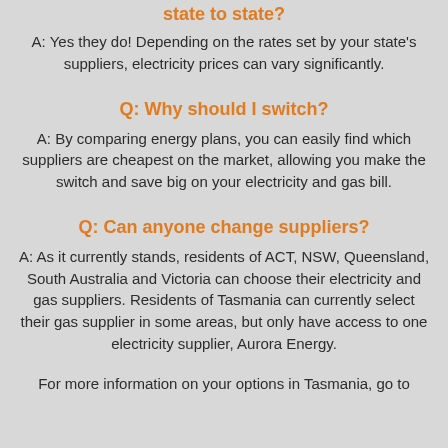state to state?
A: Yes they do! Depending on the rates set by your state's suppliers, electricity prices can vary significantly.
Q: Why should I switch?
A: By comparing energy plans, you can easily find which suppliers are cheapest on the market, allowing you make the switch and save big on your electricity and gas bill.
Q: Can anyone change suppliers?
A: As it currently stands, residents of ACT, NSW, Queensland, South Australia and Victoria can choose their electricity and gas suppliers. Residents of Tasmania can currently select their gas supplier in some areas, but only have access to one electricity supplier, Aurora Energy.
For more information on your options in Tasmania, go to